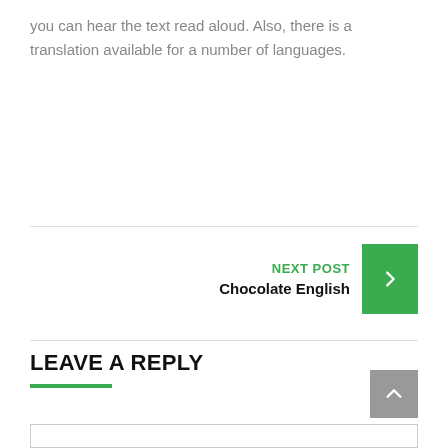you can hear the text read aloud. Also, there is a translation available for a number of languages.
NEXT POST
Chocolate English
LEAVE A REPLY